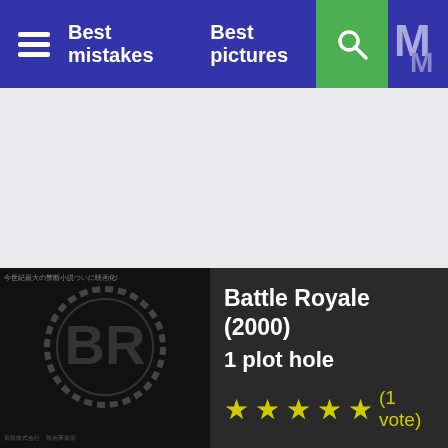Best mistakes  Best pictures
[Figure (screenshot): Grey content area, likely an advertisement placeholder]
Battle Royale (2000)
1 plot hole
★★★★★ (1 vote)